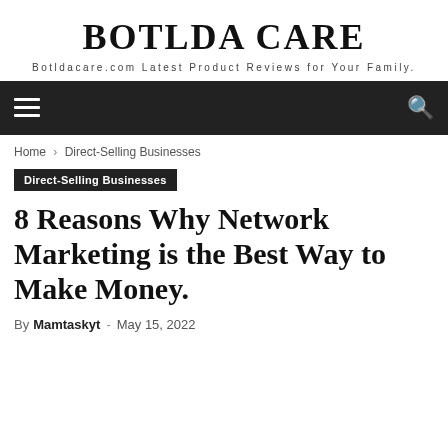BOTLDA CARE
Botldacare.com Latest Product Reviews for Your Family.
Navigation bar with hamburger menu and search icon
Home › Direct-Selling Businesses
Direct-Selling Businesses
8 Reasons Why Network Marketing is the Best Way to Make Money.
By Mamtaskyt - May 15, 2022